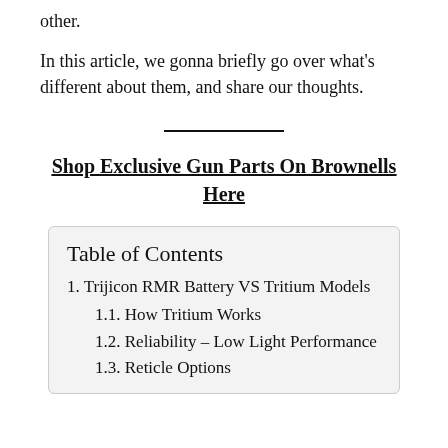other.
In this article, we gonna briefly go over what's different about them, and share our thoughts.
Shop Exclusive Gun Parts On Brownells Here
Table of Contents
1. Trijicon RMR Battery VS Tritium Models
1.1. How Tritium Works
1.2. Reliability – Low Light Performance
1.3. Reticle Options